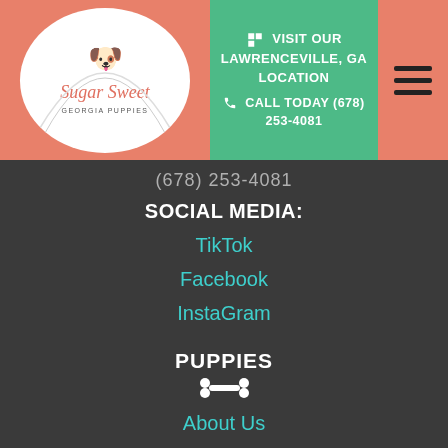VISIT OUR LAWRENCEVILLE, GA LOCATION | CALL TODAY (678) 253-4081
(678) 253-4081
SOCIAL MEDIA:
TikTok
Facebook
InstaGram
PUPPIES
About Us
Find a Puppy
Dog Breed Selector
Dog Breed Information
Blog
Financing